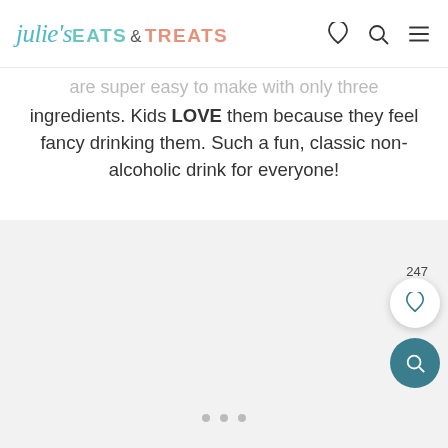julie's EATS & TREATS
are super easy to make with only three ingredients. Kids LOVE them because they feel fancy drinking them. Such a fun, classic non-alcoholic drink for everyone!
[Figure (photo): Image placeholder area with carousel dots at bottom, save/heart button and search button on the right side overlaid. Counter showing 247 saves.]